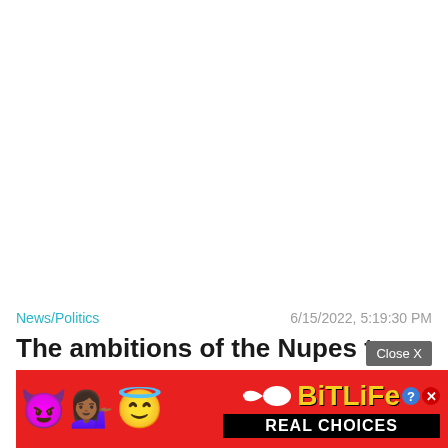News/Politics   6/15/2022, 5:19:30 PM
The ambitions of the Nupes to the Marseille developer
[Figure (screenshot): Advertisement banner for BitLife game with emoji characters (devil, woman, angel), sperm icon, BitLife logo in yellow, question mark and X icons, and 'REAL CHOICES' text on black background, all on red background. Has a 'Close X' button above it.]